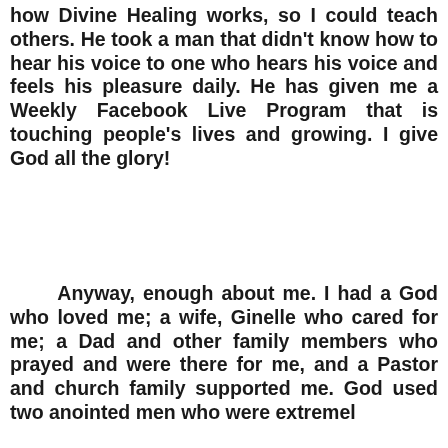how Divine Healing works, so I could teach others. He took a man that didn't know how to hear his voice to one who hears his voice and feels his pleasure daily. He has given me a Weekly Facebook Live Program that is touching people's lives and growing. I give God all the glory!
Anyway, enough about me. I had a God who loved me; a wife, Ginelle who cared for me; a Dad and other family members who prayed and were there for me, and a Pastor and church family supported me. God used two anointed men who were extremel